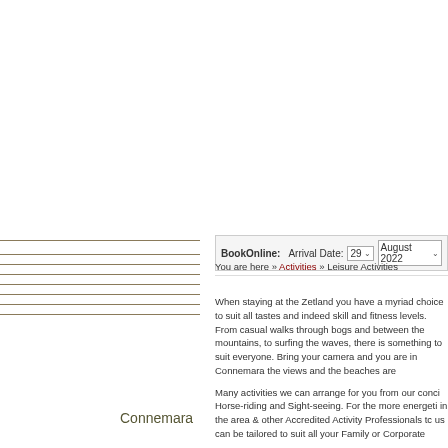BookOnline:  Arrival Date:  29 ▾  August 2022 ▾
You are here » Activities » Leisure Activities
When staying at the Zetland you have a myriad choice to suit all tastes and indeed skill and fitness levels. From casual walks through bogs and between the mountains, to surfing the waves, there is something to suit everyone. Bring your camera and your binoculars as you are in Connemara the views and the beaches are extraordinary.
Many activities we can arrange for you from our concierge, such as Horse-riding and Sight-seeing. For the more energetic we have guides in the area & other Accredited Activity Professionals to assist. Many of us can be tailored to suit all your Family or Corporate needs.
Connemara